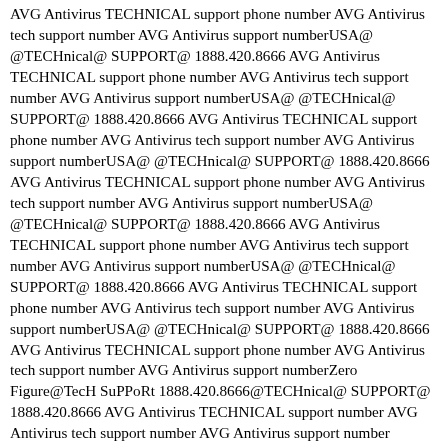AVG Antivirus TECHNICAL support phone number AVG Antivirus tech support number AVG Antivirus support numberUSA@ @TECHnical@ SUPPORT@ 1888.420.8666 AVG Antivirus TECHNICAL support phone number AVG Antivirus tech support number AVG Antivirus support numberUSA@ @TECHnical@ SUPPORT@ 1888.420.8666 AVG Antivirus TECHNICAL support phone number AVG Antivirus tech support number AVG Antivirus support numberUSA@ @TECHnical@ SUPPORT@ 1888.420.8666 AVG Antivirus TECHNICAL support phone number AVG Antivirus tech support number AVG Antivirus support numberUSA@ @TECHnical@ SUPPORT@ 1888.420.8666 AVG Antivirus TECHNICAL support phone number AVG Antivirus tech support number AVG Antivirus support numberUSA@ @TECHnical@ SUPPORT@ 1888.420.8666 AVG Antivirus TECHNICAL support phone number AVG Antivirus tech support number AVG Antivirus support numberUSA@ @TECHnical@ SUPPORT@ 1888.420.8666 AVG Antivirus TECHNICAL support phone number AVG Antivirus tech support number AVG Antivirus support numberZero Figure@TecH SuPPoRt 1888.420.8666@TECHnical@ SUPPORT@ 1888.420.8666 AVG Antivirus TECHNICAL support number AVG Antivirus tech support number AVG Antivirus support number
?@24x7@HELPLINE@4find 1888.420.8666 AVG Antivirus TECH